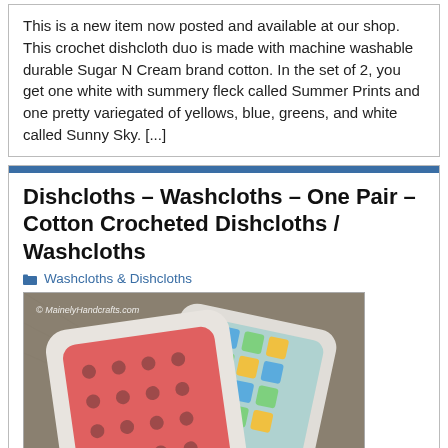This is a new item now posted and available at our shop. This crochet dishcloth duo is made with machine washable durable Sugar N Cream brand cotton. In the set of 2, you get one white with summery fleck called Summer Prints and one pretty variegated of yellows, blue, greens, and white called Sunny Sky. [...]
Dishcloths – Washcloths – One Pair – Cotton Crocheted Dishcloths / Washcloths
Washcloths & Dishcloths
[Figure (photo): Two square crocheted dishcloths on a gray textured background. The front one is salmon/coral pink with a lace stitch pattern and white border. The back one is multicolored with yellows, blues, and greens with a white border. Watermark reads MainelyHandcrafts.com.]
This is a new item now posted and available at our shop. This crochet dishcloth/washcloth duo is made with machine...